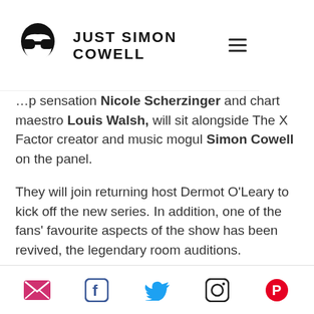JUST SIMON COWELL
…pop sensation Nicole Scherzinger and chart maestro Louis Walsh, will sit alongside The X Factor creator and music mogul Simon Cowell on the panel.
They will join returning host Dermot O'Leary to kick off the new series. In addition, one of the fans' favourite aspects of the show has been revived, the legendary room auditions.
The judges' auditions will begin on Friday June 10th at the home of the Premier League Champions, Leicester City's King Power Stadium in Leicester…
Social icons: email, facebook, twitter, instagram, pinterest